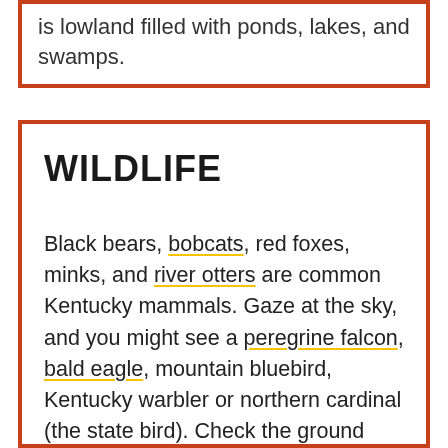is lowland filled with ponds, lakes, and swamps.
WILDLIFE
Black bears, bobcats, red foxes, minks, and river otters are common Kentucky mammals. Gaze at the sky, and you might see a peregrine falcon, bald eagle, mountain bluebird, Kentucky warbler or northern cardinal (the state bird). Check the ground and trees for reptiles like the six-lined racerunner, broadhead skink, or Eastern corn